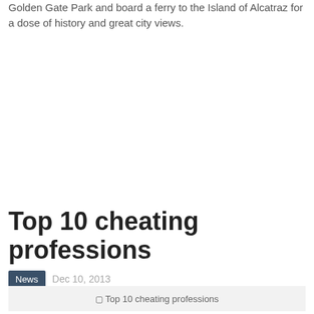Golden Gate Park and board a ferry to the Island of Alcatraz for a dose of history and great city views.
Top 10 cheating professions
News   Dec 10, 2013
[Figure (photo): Placeholder image for Top 10 cheating professions article]